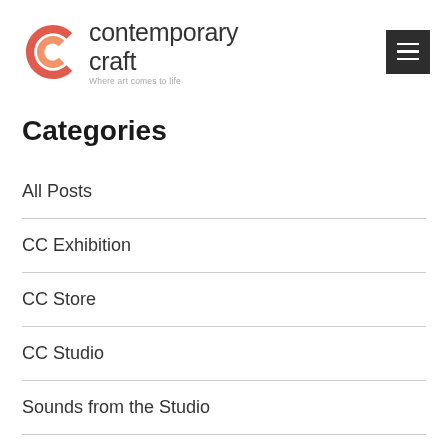[Figure (logo): Contemporary Craft logo with stylized CC icon and text 'contemporary craft Where art comes to life']
Categories
All Posts
CC Exhibition
CC Store
CC Studio
Sounds from the Studio
Uncategorized